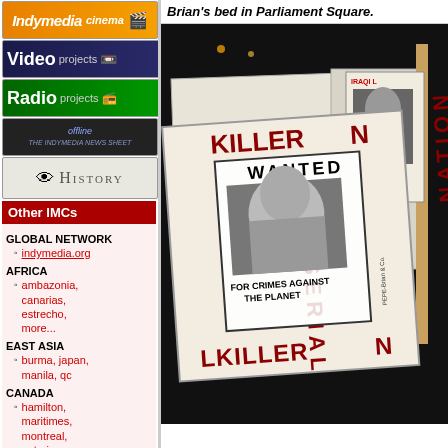[Figure (illustration): Indymedia Cinema orange banner with film camera icon]
[Figure (illustration): Video projects dark blue banner with tape icon]
[Figure (illustration): Radio projects green banner with radio icon]
[Figure (illustration): Offline - The Indymedia News Sheet dark banner]
[Figure (illustration): History banner with eye graphic]
Other IMCs
GLOBAL NETWORK
indymedia.org
AFRICA
ambazonia, canarias, estrecho, more...
EAST ASIA
burma, japan, manila, qc
CANADA
hamilton, maritimes, montreal, ontario, more...
Brian's bed in Parliament Square.
[Figure (photo): Nighttime protest photo showing handmade signs in Parliament Square. A large sign reads SERIAL KILLER NATION with a WANTED poster featuring a man's face, FOR CRIMES AGAINST THE PLANET. On the right, a sign reads IRAQI L... with photo of a child.]